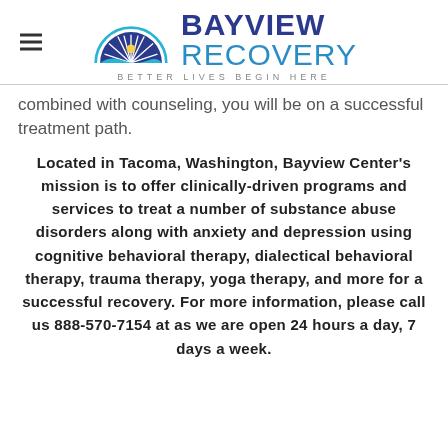[Figure (logo): Bayview Recovery logo with semicircle sun/rays icon in blue and teal, text BAYVIEW RECOVERY, tagline BETTER LIVES BEGIN HERE]
combined with counseling, you will be on a successful treatment path.
Located in Tacoma, Washington, Bayview Center's mission is to offer clinically-driven programs and services to treat a number of substance abuse disorders along with anxiety and depression using cognitive behavioral therapy, dialectical behavioral therapy, trauma therapy, yoga therapy, and more for a successful recovery. For more information, please call us 888-570-7154 at as we are open 24 hours a day, 7 days a week.